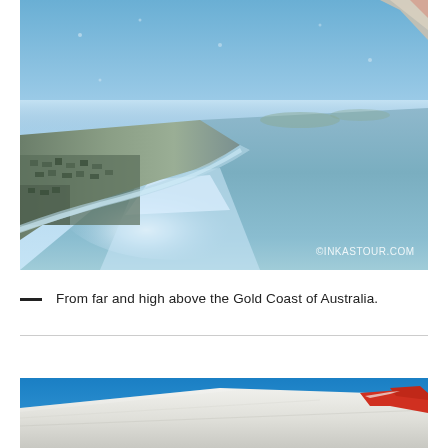[Figure (photo): Aerial photograph taken from an airplane window showing the Gold Coast of Australia from high above. The image shows a sweeping coastline with the ocean on the right, urban areas and beaches visible on the left, and the airplane wing tip visible in the upper right corner. A watermark reads '©INKASTOUR.COM' in the lower right.]
From far and high above the Gold Coast of Australia.
[Figure (photo): Aerial photograph showing an airplane wing with a red and white winglet against a clear blue sky, taken from inside the aircraft.]